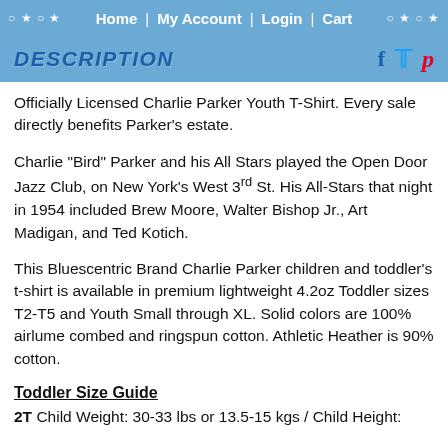○ ★ ○ ★  Home  |  My Account  |  Login  |  Cart  ○ ★ ○ ★
DESCRIPTION
Officially Licensed Charlie Parker Youth T-Shirt. Every sale directly benefits Parker's estate.
Charlie "Bird" Parker and his All Stars played the Open Door Jazz Club, on New York's West 3rd St. His All-Stars that night in 1954 included Brew Moore, Walter Bishop Jr., Art Madigan, and Ted Kotich.
This Bluescentric Brand Charlie Parker children and toddler's t-shirt is available in premium lightweight 4.2oz Toddler sizes T2-T5 and Youth Small through XL. Solid colors are 100% airlume combed and ringspun cotton. Athletic Heather is 90% cotton.
Toddler Size Guide
2T Child Weight: 30-33 lbs or 13.5-15 kgs / Child Height: